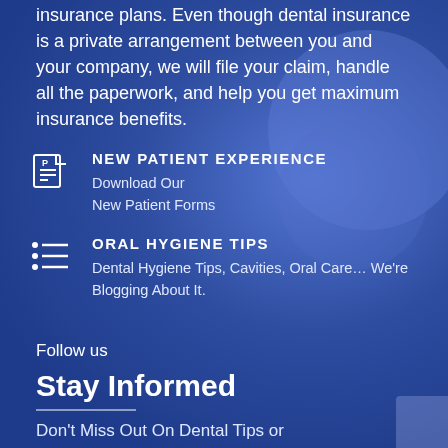insurance plans. Even though dental insurance is a private arrangement between you and your company, we will file your claim, handle all the paperwork, and help you get maximum insurance benefits.
NEW PATIENT EXPERIENCE
Download Our
New Patient Forms
ORAL HYGIENE TIPS
Dental Hygiene Tips, Cavities, Oral Care… We're Blogging About It.
Follow us
Stay Informed
Don't Miss Out On Dental Tips or